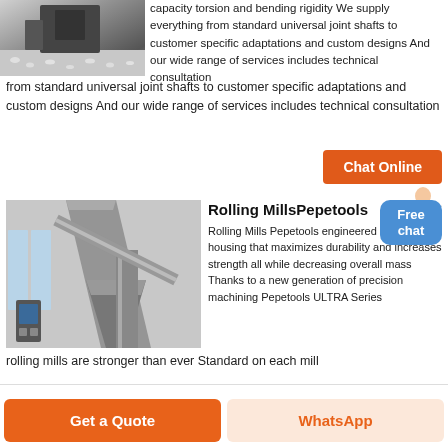[Figure (photo): Industrial machinery photo showing equipment with small white pellets/granules on ground]
capacity torsion and bending rigidity We supply everything from standard universal joint shafts to customer specific adaptations and custom designs And our wide range of services includes technical consultation
[Figure (photo): Interior of industrial facility showing large metal ducts, hoppers, and mechanical equipment]
Rolling MillsPepetools
Rolling Mills Pepetools engineered a unique housing that maximizes durability and increases strength all while decreasing overall mass Thanks to a new generation of precision machining Pepetools ULTRA Series rolling mills are stronger than ever Standard on each mill